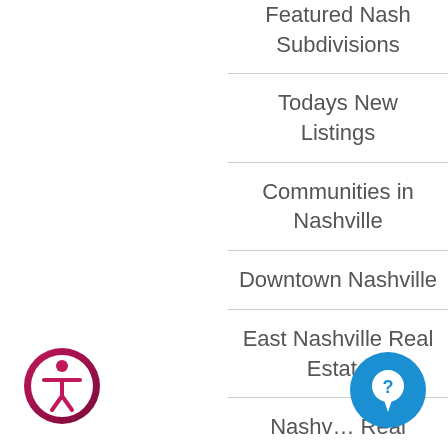Featured Nash Subdivisions
Todays New Listings
Communities in Nashville
Downtown Nashville
East Nashville Real Estate
Nashville Real
[Figure (illustration): Accessibility icon: circular badge with person figure silhouette, pink/maroon gradient border]
[Figure (illustration): Chat/support icon: blue circle with speech bubble / question mark symbol]